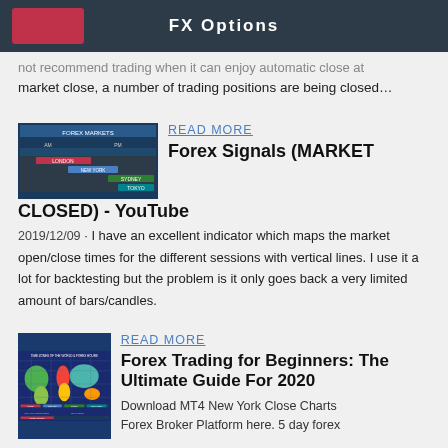FX Options
not recommend trading when it can enjoy automatic close at market close, a number of trading positions are being closed…
[Figure (screenshot): Screenshot of a Forex Markets sessions schedule table showing AM/PM columns with colored rows for London, New York, Sydney sessions]
READ MORE
Forex Signals (MARKET CLOSED) - YouTube
2019/12/09 · I have an excellent indicator which maps the market open/close times for the different sessions with vertical lines. I use it a lot for backtesting but the problem is it only goes back a very limited amount of bars/candles.
[Figure (screenshot): Screenshot of a world map showing time zones of forex trading hours with colored regions and session bars at the bottom]
READ MORE
Forex Trading for Beginners: The Ultimate Guide For 2020
Download MT4 New York Close Charts   Forex Broker Platform here. 5 day forex